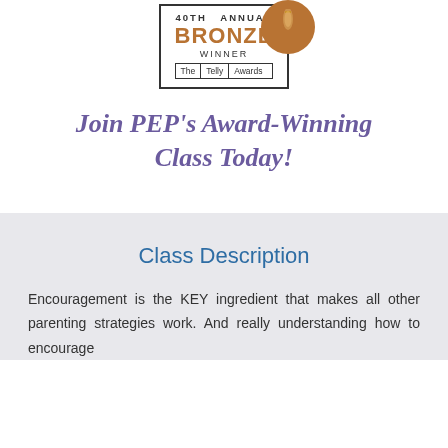[Figure (logo): 40th Annual Bronze Winner The Telly Awards badge with a bronze coin/trophy icon]
Join PEP's Award-Winning Class Today!
Class Description
Encouragement is the KEY ingredient that makes all other parenting strategies work. And really understanding how to encourage